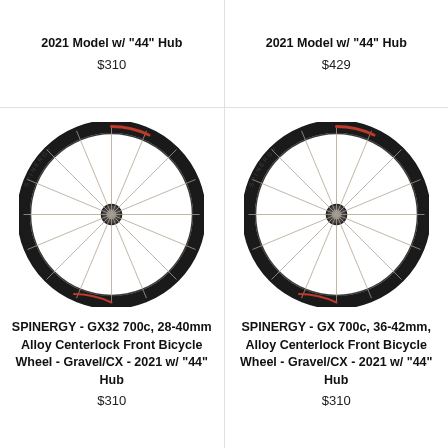2021 Model w/ "44" Hub
$310
2021 Model w/ "44" Hub
$429
[Figure (photo): SPINERGY bicycle wheel - GX32 700c gravel/CX front wheel with black carbon rim and silver spokes]
SPINERGY - GX32 700c, 28-40mm Alloy Centerlock Front Bicycle Wheel - Gravel/CX - 2021 w/ "44" Hub
$310
[Figure (photo): SPINERGY bicycle wheel - GX 700c gravel/CX front wheel with black carbon rim and silver spokes]
SPINERGY - GX 700c, 36-42mm, Alloy Centerlock Front Bicycle Wheel - Gravel/CX - 2021 w/ "44" Hub
$310